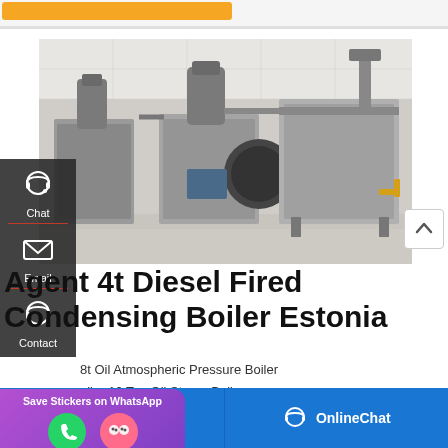[Figure (photo): Industrial diesel-fired condensing boilers in a factory/plant room, showing multiple large grey metal boiler units with black pipe burner assemblies and connecting pipework, arranged side by side on a light-coloured floor.]
Agent 4t Diesel Fired Condensing Boiler Estonia
8t Oil Atmospheric Pressure Boiler oiler 10 Ton Oil Steam Boiler - cmp-
Leave Message | OnlineChat